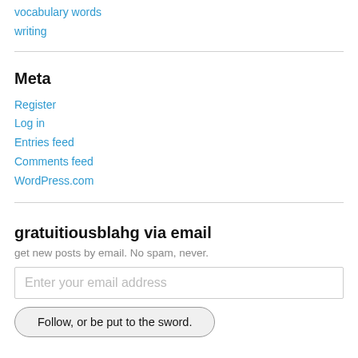vocabulary words
writing
Meta
Register
Log in
Entries feed
Comments feed
WordPress.com
gratuitiousblahg via email
get new posts by email. No spam, never.
Enter your email address
Follow, or be put to the sword.